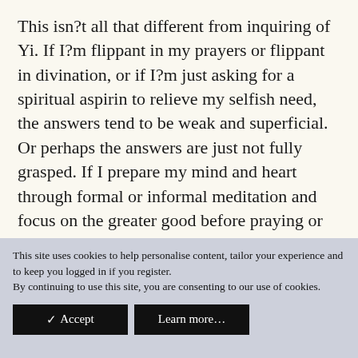This isn?t all that different from inquiring of Yi. If I?m flippant in my prayers or flippant in divination, or if I?m just asking for a spiritual aspirin to relieve my selfish need, the answers tend to be weak and superficial. Or perhaps the answers are just not fully grasped. If I prepare my mind and heart through formal or informal meditation and focus on the greater good before praying or inquiring of Yi, the answers tend to have much greater significance, breadth and weight. But in each case, whether praying or inquiring of Yi, the answer returns to me by observing my thoughts, actions and the source of difficulty rather than just the
This site uses cookies to help personalise content, tailor your experience and to keep you logged in if you register.
By continuing to use this site, you are consenting to our use of cookies.